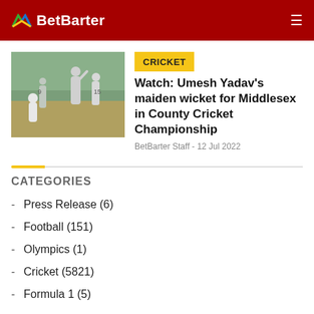BetBarter
[Figure (photo): Cricket match photo showing players on the field, one bowler with arm raised]
CRICKET
Watch: Umesh Yadav's maiden wicket for Middlesex in County Cricket Championship
BetBarter Staff - 12 Jul 2022
CATEGORIES
Press Release (6)
Football (151)
Olympics (1)
Cricket (5821)
Formula 1 (5)